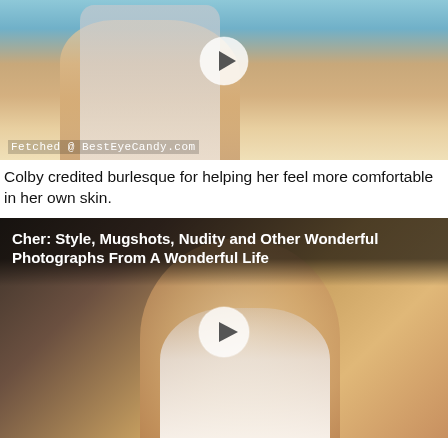[Figure (photo): Woman in white tank top, cropped photo with watermark 'Fetched @ BestEyeCandy.com', play button overlay]
Colby credited burlesque for helping her feel more comfortable in her own skin.
[Figure (photo): Vintage photo of a woman with curly blonde hair in white ruffled dress, with play button overlay and title overlay: 'Cher: Style, Mugshots, Nudity and Other Wonderful Photographs From A Wonderful Life']
Actress Marilyn Monroe was an American actress, comedienne, singer and model.